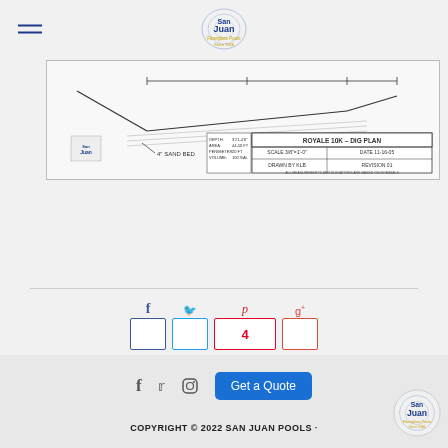San Juan Pools - header with logo and hamburger menu
[Figure (engineering-diagram): Royale 10K Dig Plan engineering drawing showing pool cross-section with 4 inch sand bed. Scale 3/8 inch = 1 foot, Date 11-16-05, Drawn by KLB, Revision 01.]
[Figure (infographic): Social share buttons: Facebook, Twitter, Pinterest (count: 4), Google+]
POSTED BY: SANJUANPOOLS · IN: 10' TO 15' LONG POOLS, FIBERGLASS POOLS & SPAS, FIBERGLASS SPAS
COPYRIGHT © 2022 SAN JUAN POOLS · footer with social icons (Facebook, Twitter, Instagram), Get a Quote button, and San Juan Pools logo